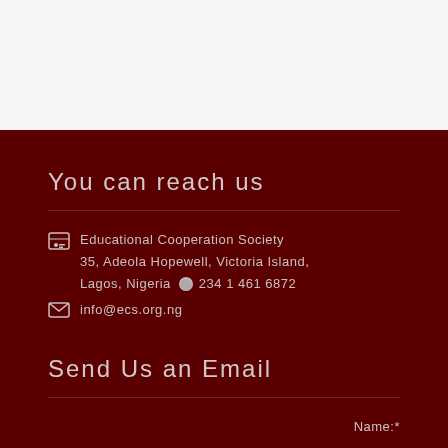You can reach us
Educational Cooperation Society
35, Adeola Hopewell, Victoria Island,
Lagos, Nigeria   234 1 461 6872
info@ecs.org.ng
Send Us an Email
Name:*